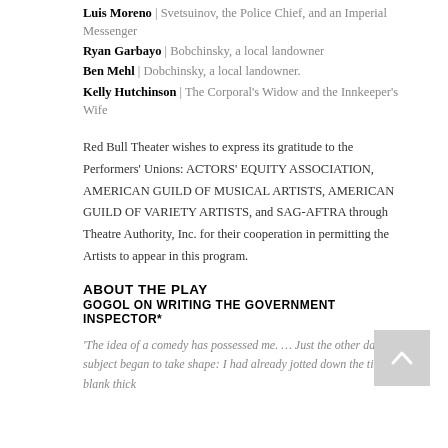Luis Moreno | Svetsuinov, the Police Chief, and an Imperial Messenger
Ryan Garbayo | Bobchinsky, a local landowner
Ben Mehl | Dobchinsky, a local landowner.
Kelly Hutchinson | The Corporal's Widow and the Innkeeper's Wife
Red Bull Theater wishes to express its gratitude to the Performers' Unions: ACTORS' EQUITY ASSOCIATION, AMERICAN GUILD OF MUSICAL ARTISTS, AMERICAN GUILD OF VARIETY ARTISTS, and SAG-AFTRA through Theatre Authority, Inc. for their cooperation in permitting the Artists to appear in this program.
ABOUT THE PLAY
GOGOL ON WRITING THE GOVERNMENT INSPECTOR*
The idea of a comedy has possessed me. … Just the other day its subject began to take shape: I had already jotted down the tide in a blank thick